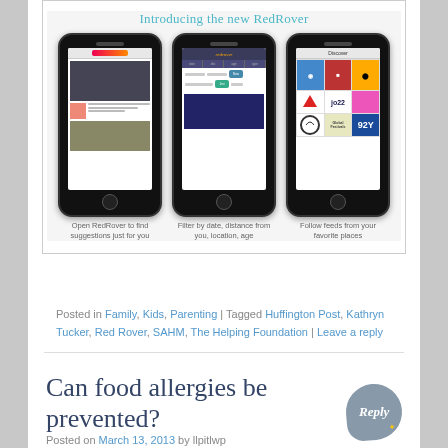[Figure (screenshot): Promotional image of RedRover app showing three iPhones with captions: 'Open RedRover to find suggestions just for you', 'Filter by date, distance from you, location, age', 'Follow feeds from your favorite places'. Title reads 'Introducing the new RedRover'.]
Posted in Family, Kids, Parenting | Tagged Huffington Post, Kathryn Tucker, Red Rover, SAHM, The Helping Foundation | Leave a reply
Can food allergies be prevented?
Posted on March 13, 2013 by llpitlwp